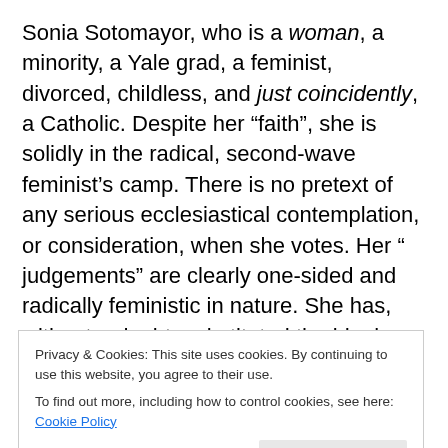Sonia Sotomayor, who is a woman, a minority, a Yale grad, a feminist, divorced, childless, and just coincidently, a Catholic. Despite her “faith”, she is solidly in the radical, second-wave feminist’s camp. There is no pretext of any serious ecclesiastical contemplation, or consideration, when she votes. Her “ judgements” are clearly one-sided and radically feministic in nature. She has, without a doubt, substituted the ideology of lesbian-led, radical, second-wave feminism for the tenets of her Catholic faith. Her radical feminist views are not only hypocritical, they are heretical. And for this, Ms. Sotomayor, should be
Privacy & Cookies: This site uses cookies. By continuing to use this website, you agree to their use.
To find out more, including how to control cookies, see here: Cookie Policy
Close and accept
Business in